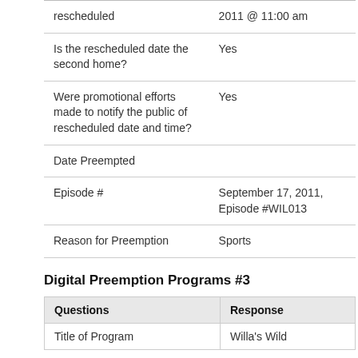| Questions | Response |
| --- | --- |
| rescheduled | 2011 @ 11:00 am |
| Is the rescheduled date the second home? | Yes |
| Were promotional efforts made to notify the public of rescheduled date and time? | Yes |
| Date Preempted |  |
| Episode # | September 17, 2011, Episode #WIL013 |
| Reason for Preemption | Sports |
Digital Preemption Programs #3
| Questions | Response |
| --- | --- |
| Title of Program | Willa's Wild |